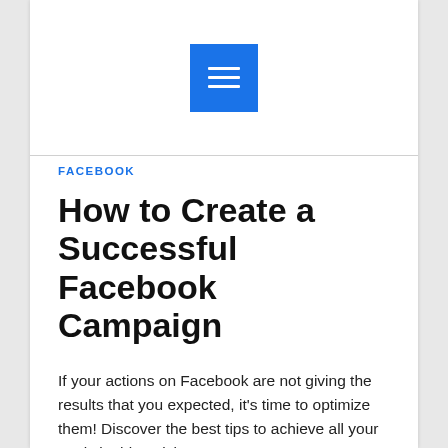[Figure (other): Blue square button with three horizontal white lines (hamburger/menu icon)]
FACEBOOK
How to Create a Successful Facebook Campaign
If your actions on Facebook are not giving the results that you expected, it's time to optimize them! Discover the best tips to achieve all your goals in this article.